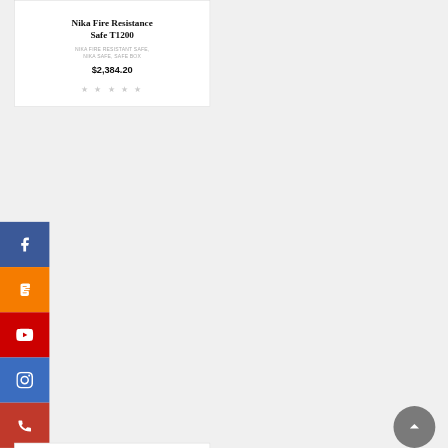Nika Fire Resistance Safe T1200
NIKA FIRE RESISTANT SAFE, NIKA SAFE, SAFE BOX
$2,384.20
[Figure (other): Five empty star ratings in gray]
[Figure (other): Social media sidebar with Facebook (blue), Blogger (orange), YouTube (red), Instagram (blue), Phone (red) icons]
Nika Fire Resistance